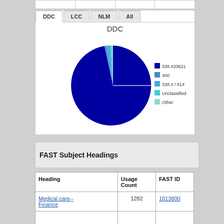[Figure (pie-chart): DDC]
FAST Subject Headings
| Heading | Usage Count | FAST ID |
| --- | --- | --- |
| Medical care-- Finance | 1282 | 1013800 |